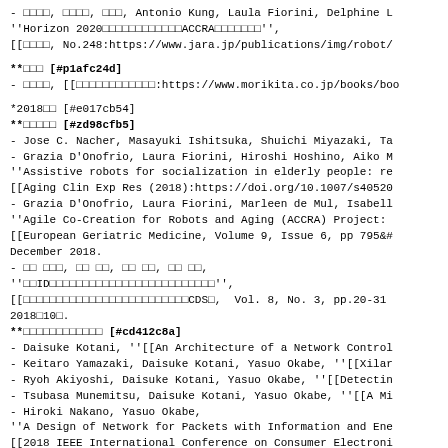- □□□□, □□□□, □□□, Antonio Kung, Laula Fiorini, Delphine L...
''Horizon 2020□□□□□□□□□□□□ACCRA□□□□□□□'',
[[□□□□, No.248:https://www.jara.jp/publications/img/robot/
**□□□ [#p1afc24d]
- □□□□, [[□□□□□□□□□□□□:https://www.morikita.co.jp/books/boo
*2018□□ [#e017cb54]
**□□□□□ [#zd98cfb5]
- Jose C. Nacher, Masayuki Ishitsuka, Shuichi Miyazaki, Ta...
- Grazia D'Onofrio, Laura Fiorini, Hiroshi Hoshino, Aiko M...
''Assistive robots for socialization in elderly people: re...
[[Aging Clin Exp Res (2018):https://doi.org/10.1007/s40520...
- Grazia D'Onofrio, Laura Fiorini, Marleen de Mul, Isabell...
''Agile Co-Creation for Robots and Aging (ACCRA) Project:
[[European Geriatric Medicine, Volume 9, Issue 6, pp 795&#...
December 2018.
- □□ □□□, □□ □□, □□ □□, □□ □□,
''□□ID□□□□□□□□□□□□□□□□□□□□□□□□□'',
[[□□□□□□□□□□□□□□□□□□□□□□□□□CDS□, Vol. 8, No. 3, pp.20-31...
2018□10□.
**□□□□□□□□□□□□ [#cd412c8a]
- Daisuke Kotani, ''[[An Architecture of a Network Controll...
- Keitaro Yamazaki, Daisuke Kotani, Yasuo Okabe, ''[[Xilar...
- Ryoh Akiyoshi, Daisuke Kotani, Yasuo Okabe, ''[[Detectin...
- Tsubasa Munemitsu, Daisuke Kotani, Yasuo Okabe, ''[[A Mi...
- Hiroki Nakano, Yasuo Okabe,
''A Design of Network for Packets with Information and Ene...
[[2018 IEEE International Conference on Consumer Electroni...
May 2018.